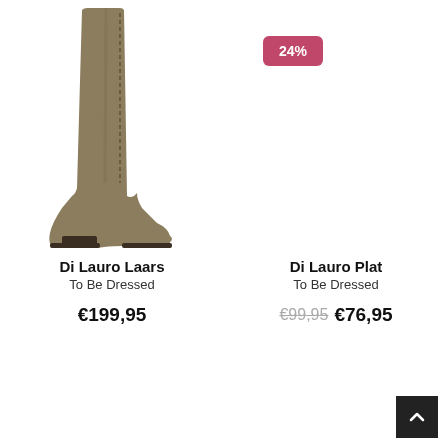[Figure (photo): Suede knee-high boot with block heel and zipper detail, tan/olive color - Di Lauro Laars by To Be Dressed]
Di Lauro Laars
To Be Dressed
€199,95
[Figure (infographic): Pink discount badge showing 24%]
Di Lauro Plat
To Be Dressed
€99,95  €76,95